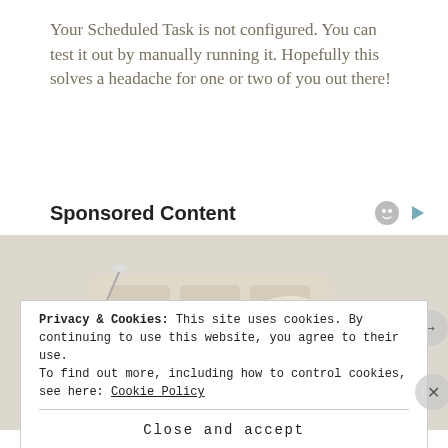Your Scheduled Task is not configured. You can test it out by manually running it. Hopefully this solves a headache for one or two of you out there!
Sponsored Content
[Figure (photo): Product advertisement photo showing a luxury smart bed with leather upholstery, speakers, and various built-in accessories]
Privacy & Cookies: This site uses cookies. By continuing to use this website, you agree to their use.
To find out more, including how to control cookies, see here: Cookie Policy
Close and accept